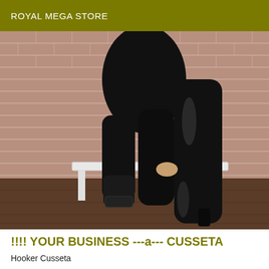ROYAL MEGA STORE
[Figure (photo): A person wearing black patent leather thigh-high boots and black latex outfit, sitting on a white bench with one foot on the bench, against a brick wall background with wooden floor]
!!!! YOUR BUSINESS ---a--- CUSSETA
Hooker Cusseta